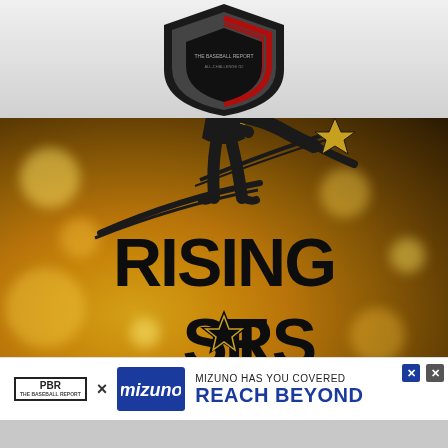[Figure (logo): Baseball/sports shield emblem logo at top center, dark shield with red and gray accents]
[Figure (logo): Rising Stars baseball logo: silhouette of batter swinging with star streak, bold text RISING STARS on golden bokeh background]
[Figure (logo): Advertisement banner: PBR x Mizuno logos with text 'MIZUNO HAS YOU COVERED REACH BEYOND']